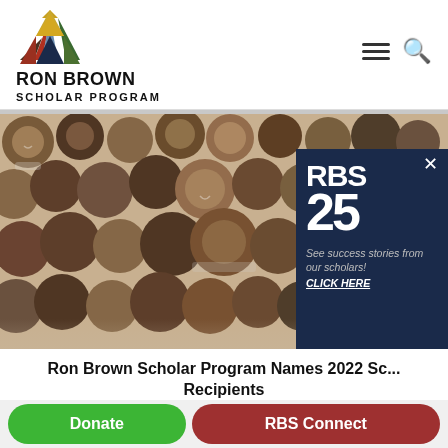[Figure (logo): Ron Brown Scholar Program logo with triangular multicolor icon and bold text RON BROWN SCHOLAR PROGRAM]
[Figure (photo): Collage of diverse smiling young Black scholars, head shots arranged in a group photo composition]
[Figure (infographic): RBS25 dark navy overlay box with close X, showing RBS 25 in large text and text: See success stories from our scholars! CLICK HERE]
Ron Brown Scholar Program Names 2022 Sc... Recipients
Donate
RBS Connect